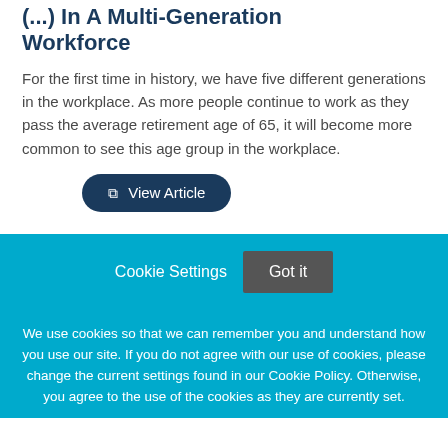(...) In A Multi-Generation Workforce
For the first time in history, we have five different generations in the workplace. As more people continue to work as they pass the average retirement age of 65, it will become more common to see this age group in the workplace.
View Article
Cookie Settings
Got it
We use cookies so that we can remember you and understand how you use our site. If you do not agree with our use of cookies, please change the current settings found in our Cookie Policy. Otherwise, you agree to the use of the cookies as they are currently set.